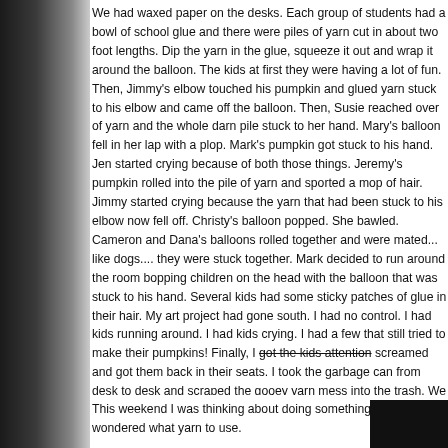We had waxed paper on the desks. Each group of students had a bowl of school glue and there were piles of yarn cut in about two foot lengths. Dip the yarn in the glue, squeeze it out and wrap it around the balloon. The kids at first they were having a lot of fun. Then, Jimmy's elbow touched his pumpkin and glued yarn stuck to his elbow and came off the balloon. Then, Susie reached over of yarn and the whole darn pile stuck to her hand. Mary's balloon fell in her lap with a plop. Mark's pumpkin got stuck to his hand. Jen started crying because of both those things. Jeremy's pumpkin rolled into the pile of yarn and sported a mop of hair. Jimmy started crying because the yarn that had been stuck to his elbow now fell off. Christy's balloon popped. She bawled. Cameron and Dana's balloons rolled together and were mated... like dogs.... they were stuck together. Mark decided to run around the room bopping children on the head with the balloon that was stuck to his hand. Several kids had some sticky patches of glue in their hair. My art project had gone south. I had no control. I had kids running around. I had kids crying. I had a few that still tried to make their pumpkins! Finally, I got the kids attention screamed and got them back in their seats. I took the garbage can from desk to desk and scraped the gooey yarn mess into the trash. We washed up, as best we could. I gave each child a piece of paper and told them draw and color a pumpkin. This was not a proud moment in my teaching career.
This weekend I was thinking about doing something crafty and wondered what yarn to use.
[Figure (photo): Dark/black image partially visible at bottom right of page]